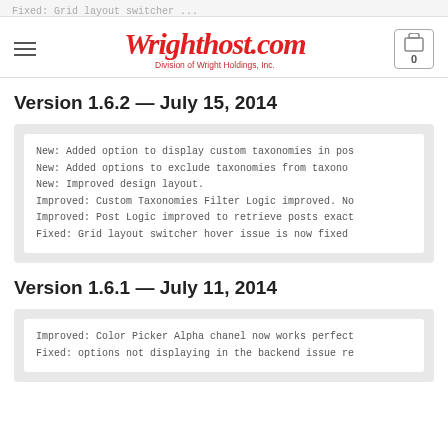Fixed: Grid layout switcher ... | Wrighthost.com — Division of Wright Holdings, Inc.
Version 1.6.2 — July 15, 2014
New: Added option to display custom taxonomies in pos
New: Added options to exclude taxonomies from taxono
New: Improved design layout.
Improved: Custom Taxonomies Filter Logic improved. No
Improved: Post Logic improved to retrieve posts exact
Fixed: Grid layout switcher hover issue is now fixed
Version 1.6.1 — July 11, 2014
Improved: Color Picker Alpha chanel now works perfect
Fixed: options not displaying in the backend issue re